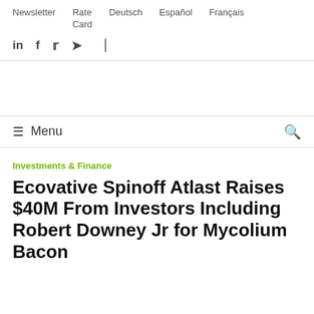Newsletter  Rate Card  Deutsch  Español  Français
in  f  🐦  ✈  RSS
≡ Menu
Investments & Finance
Ecovative Spinoff Atlast Raises $40M From Investors Including Robert Downey Jr for Mycolium Bacon